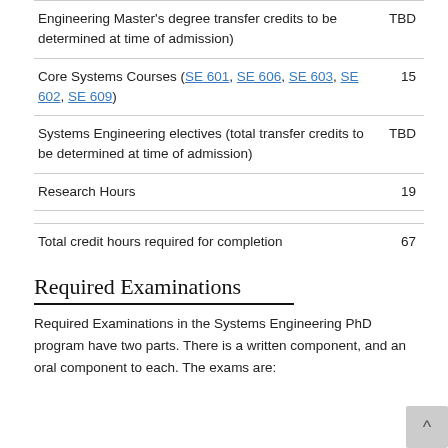| Course/Requirement | Credits |
| --- | --- |
| Engineering Master's degree transfer credits to be determined at time of admission) | TBD |
| Core Systems Courses (SE 601, SE 606, SE 603, SE 602, SE 609) | 15 |
| Systems Engineering electives (total transfer credits to be determined at time of admission) | TBD |
| Research Hours | 19 |
|  |  |
| Total credit hours required for completion | 67 |
Required Examinations
Required Examinations in the Systems Engineering PhD program have two parts. There is a written component, and an oral component to each. The exams are: